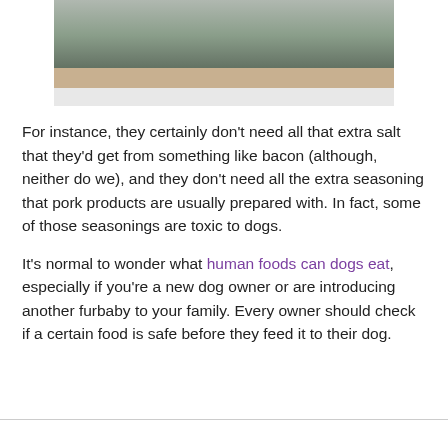[Figure (photo): Partial photo of a person sitting cross-legged on a yoga mat on a wooden deck, with a container in the background. Only the lower portion of the image is visible.]
For instance, they certainly don't need all that extra salt that they'd get from something like bacon (although, neither do we), and they don't need all the extra seasoning that pork products are usually prepared with. In fact, some of those seasonings are toxic to dogs.
It's normal to wonder what human foods can dogs eat, especially if you're a new dog owner or are introducing another furbaby to your family. Every owner should check if a certain food is safe before they feed it to their dog.